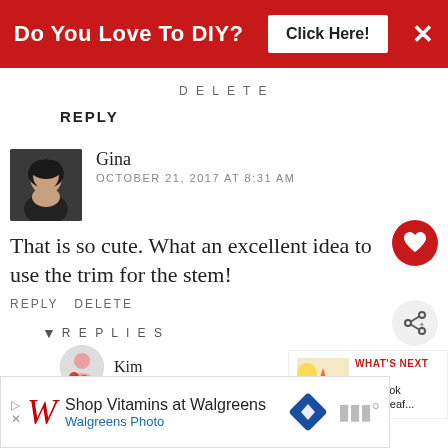[Figure (screenshot): Red banner advertisement: 'Do You Love To DIY? Click Here!' with an X close button]
DELETE
REPLY
Gina
OCTOBER 21, 2017 AT 8:31 AM
That is so cute. What an excellent idea to use the trim for the stem!
REPLY DELETE
▼ REPLIES
[Figure (other): What's Next widget: Fall Book Page Leaf...]
Kim
[Figure (screenshot): Walgreens advertisement: Shop Vitamins at Walgreens / Walgreens Photo]